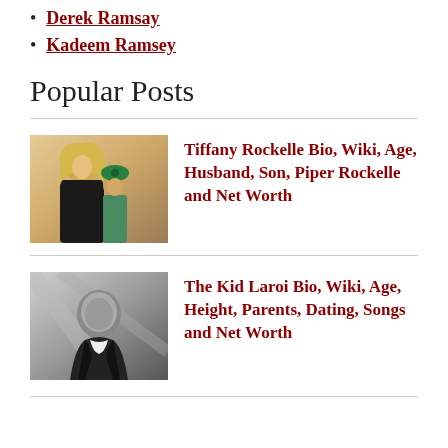Derek Ramsay
Kadeem Ramsey
Popular Posts
[Figure (photo): Photo of Tiffany Rockelle with a young girl (Piper Rockelle) wearing green bow, both smiling]
Tiffany Rockelle Bio, Wiki, Age, Husband, Son, Piper Rockelle and Net Worth
[Figure (photo): Black and white photo of The Kid Laroi, a young male artist in a dark jacket]
The Kid Laroi Bio, Wiki, Age, Height, Parents, Dating, Songs and Net Worth